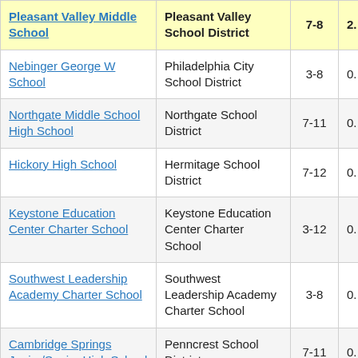| School | District | Grades | Value |
| --- | --- | --- | --- |
| Pleasant Valley Middle School | Pleasant Valley School District | 7-8 | 2. |
| Nebinger George W School | Philadelphia City School District | 3-8 | 0. |
| Northgate Middle School High School | Northgate School District | 7-11 | 0. |
| Hickory High School | Hermitage School District | 7-12 | 0. |
| Keystone Education Center Charter School | Keystone Education Center Charter School | 3-12 | 0. |
| Southwest Leadership Academy Charter School | Southwest Leadership Academy Charter School | 3-8 | 0. |
| Cambridge Springs Junior/Senior High School | Penncrest School District | 7-11 | 0. |